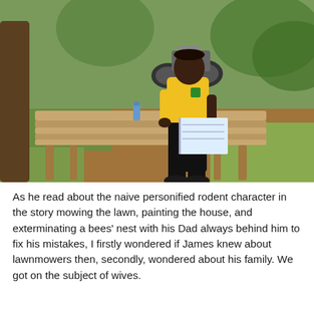[Figure (photo): A young man in a yellow polo shirt and black trousers sits on a wooden bench made of bamboo poles, reading a book. A motorcycle is parked in the background. The setting appears to be a rural or semi-rural outdoor area with trees and red earth ground.]
As he read about the naive personified rodent character in the story mowing the lawn, painting the house, and exterminating a bees' nest with his Dad always behind him to fix his mistakes, I firstly wondered if James knew about lawnmowers then, secondly, wondered about his family. We got on the subject of wives.